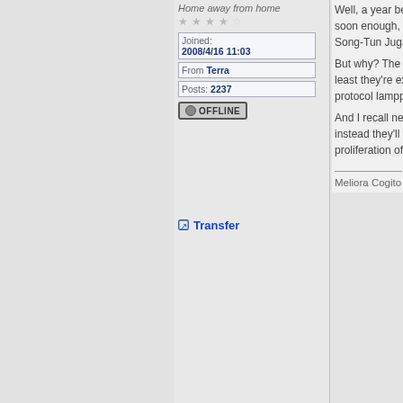Home away from home
Joined: 2008/4/16 11:03
From Terra
Posts: 2237
OFFLINE
Well, a year beh... soon enough, the Song-Tun Jugah...
But why? The tre... least they're exp... protocol lamppos...
And I recall news... instead they'll fu... proliferation of fl...
Meliora Cogito | [
Transfer
Top
Previous Topic
Next Topi...
Register To Post
You can view topic.
You cannot start a new topic.
You cannot reply to posts.
You cannot edit your posts.
You cannot delete your posts.